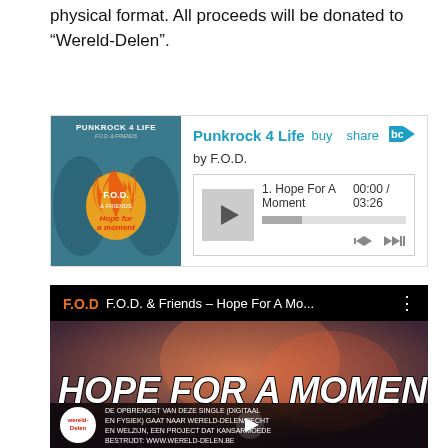physical format. All proceeds will be donated to “Wereld-Delen”.
[Figure (screenshot): Bandcamp music player widget showing 'Punkrock 4 Life' album by F.O.D. with track 'Hope For A Moment' (00:00 / 03:26), featuring album art with flame logo and teal/blue background.]
[Figure (screenshot): YouTube video thumbnail for 'F.O.D. & Friends – Hope For A Mo...' showing large white bold italic text 'HOPE FOR A MOMENT' over a dark photo background, with Wereld-Delen logo and Dutch text about proceeds going to Wereld-Delen.]